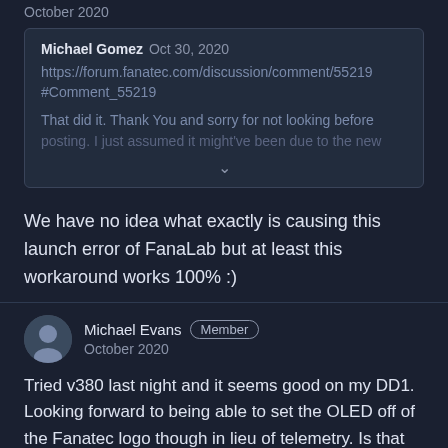October 2020
Michael Gomez  Oct 30, 2020
https://forum.fanatec.com/discussion/comment/55219#Comment_55219

That did it. Thank You and sorry for not looking before posting. I just assumed it might've been due to the new
We have no idea what exactly is causing this launch error of FanaLab but at least this workaround works 100% :)
Michael Evans  Member
October 2020
Tried v380 last night and it seems good on my DD1. Looking forward to being able to set the OLED off of the Fanatec logo though in lieu of telemetry. Is that ever going to be fixed? That and wheel LED brightness adjustments (in